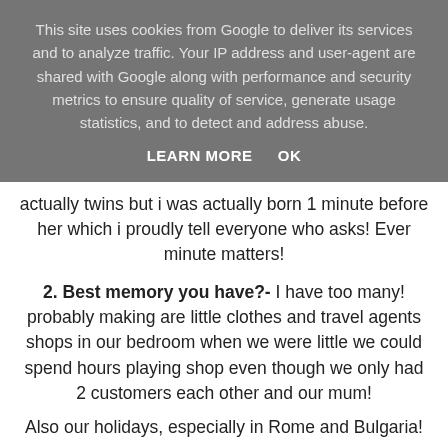This site uses cookies from Google to deliver its services and to analyze traffic. Your IP address and user-agent are shared with Google along with performance and security metrics to ensure quality of service, generate usage statistics, and to detect and address abuse.
LEARN MORE   OK
actually twins but i was actually born 1 minute before her which i proudly tell everyone who asks! Ever minute matters!
2. Best memory you have?- I have too many! probably making are little clothes and travel agents shops in our bedroom when we were little we could spend hours playing shop even though we only had 2 customers each other and our mum!
Also our holidays, especially in Rome and Bulgaria!
3. What annoys you the most about your sibling/(s)?-